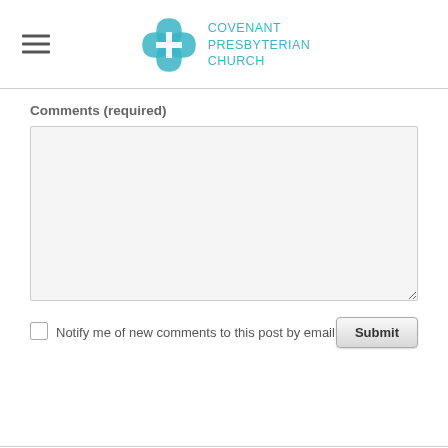[Figure (logo): Covenant Presbyterian Church logo with teal cross/flower emblem and text 'Covenant Presbyterian Church' in teal uppercase letters]
Comments (required)
[Figure (screenshot): Textarea input field for comments, light gray background with resize handle]
Notify me of new comments to this post by email
Submit